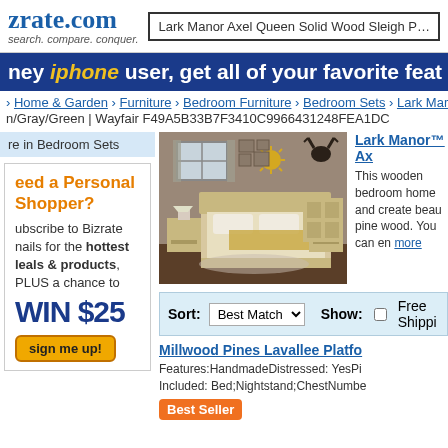zrate.com - search. compare. conquer. | Lark Manor Axel Queen Solid Wood Sleigh Platform
ney iphone user, get all of your favorite feat
> Home & Garden > Furniture > Bedroom Furniture > Bedroom Sets > Lark Mar
n/Gray/Green | Wayfair F49A5B33B7F3410C9966431248FEA1DC
re in Bedroom Sets
eed a Personal Shopper?
ubscribe to Bizrate nails for the hottest leals & products, PLUS a chance to
WIN $25
sign me up!
[Figure (photo): Bedroom furniture set with sleigh bed, nightstands, and dresser in a styled room with gray walls]
Lark Manor™ Ax
This wooden bedroom home and create beau pine wood. You can en more
Sort: Best Match | Show: Free Shippi
Millwood Pines Lavallee Platfo
Features:HandmadeDistressed: YesPi Included: Bed;Nightstand;ChestNumbe
Best Seller